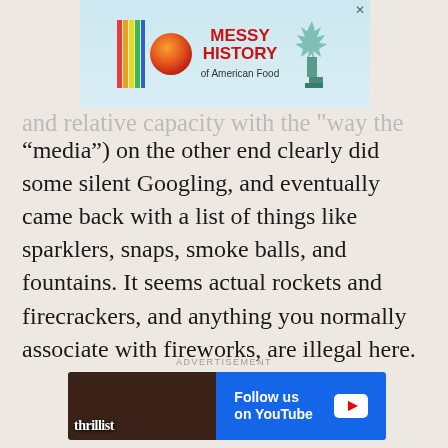[Figure (infographic): Advertisement banner at top: 'MESSY HISTORY of American Food' with colorful logo including vertical rainbow stripes and orange sphere, and Statue of Liberty image on right. Close X button top right.]
“media”) on the other end clearly did some silent Googling, and eventually came back with a list of things like sparklers, snaps, smoke balls, and fountains. It seems actual rockets and firecrackers, and anything you normally associate with fireworks, are illegal here.
ADVERTISEMENT
[Figure (infographic): Advertisement banner: Thrillist logo on left with photo of person blowing into instrument, blue right half reading 'Follow us on YouTube' with YouTube play button icon. Close X button top right.]
“OK [Not Really Frank],” I said, very charmingly. “That’s all well and good. But I’m doing a NATIONAL